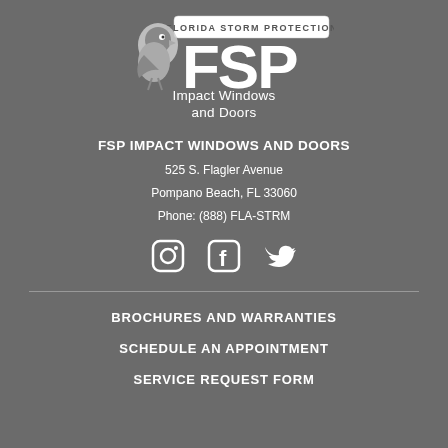[Figure (logo): FSP Florida Storm Protection logo with bird mascot and 'Impact Windows and Doors' text]
FSP IMPACT WINDOWS AND DOORS
525 S. Flagler Avenue
Pompano Beach, FL 33060
Phone: (888) FLA-STRM
[Figure (illustration): Social media icons: Instagram, Facebook, Twitter]
BROCHURES AND WARRANTIES
SCHEDULE AN APPOINTMENT
SERVICE REQUEST FORM